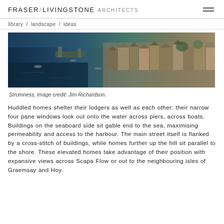FRASER / LIVINGSTONE ARCHITECTS
library / landscape / ideas
[Figure (photo): Aerial photograph of Stromness harbour town showing stone buildings clustered around a waterfront with boats moored in a dark blue bay.]
Stromness, image credit: Jim Richardson.
Huddled homes shelter their lodgers as well as each other; their narrow four pane windows look out onto the water across piers, across boats. Buildings on the seaboard side sit gable end to the sea, maximising permeability and access to the harbour. The main street itself is flanked by a cross-stitch of buildings, while homes further up the hill sit parallel to the shore. These elevated homes take advantage of their position with expansive views across Scapa Flow or out to the neighbouring isles of Graemsay and Hoy.